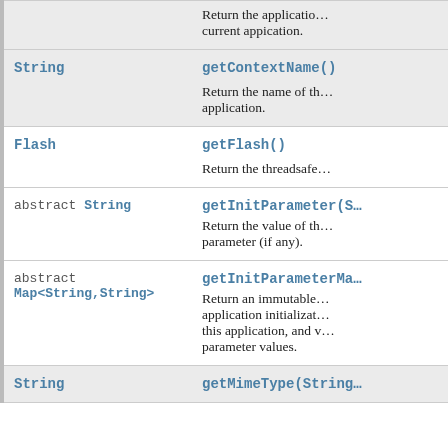| Type | Method and Description |
| --- | --- |
| String | getContextName()
Return the name of the application. |
| Flash | getFlash()
Return the threadsafe... |
| abstract String | getInitParameter(S...)
Return the value of the parameter (if any). |
| abstract Map<String,String> | getInitParameterMa...
Return an immutable application initialization... this application, and... parameter values. |
| String | getMimeType(String... |